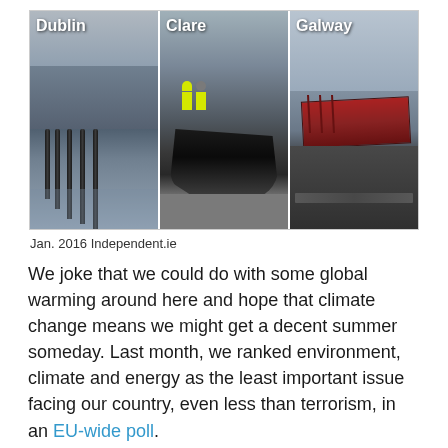[Figure (photo): Triptych of storm/flood damage photos from Ireland labeled Dublin, Clare, and Galway. Dublin shows a flooded coastal road with bollards. Clare shows workers in hi-vis jackets standing near a large hole in road surface. Galway shows an overturned red shipping container on a coastal road.]
Jan. 2016 Independent.ie
We joke that we could do with some global warming around here and hope that climate change means we might get a decent summer someday. Last month, we ranked environment, climate and energy as the least important issue facing our country, even less than terrorism, in an EU-wide poll.
How differently would we respond to that poll today after witnessing places like Kilkenny, Carrick, and